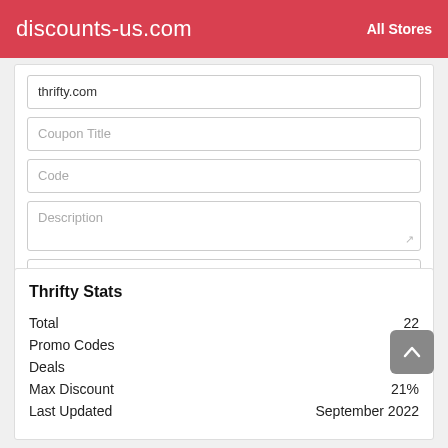discounts-us.com   All Stores
thrifty.com
Coupon Title
Code
Description
Expiration
Submit
Thrifty Stats
|  |  |
| --- | --- |
| Total | 22 |
| Promo Codes | 7 |
| Deals | 15 |
| Max Discount | 21% |
| Last Updated | September 2022 |